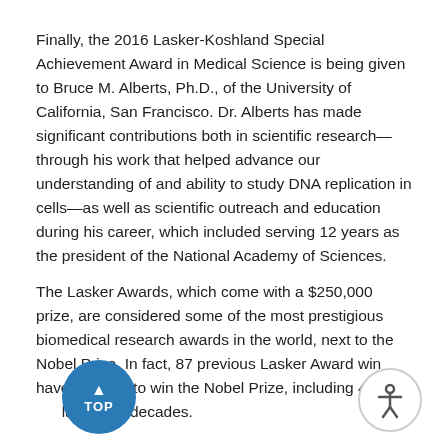Finally, the 2016 Lasker-Koshland Special Achievement Award in Medical Science is being given to Bruce M. Alberts, Ph.D., of the University of California, San Francisco. Dr. Alberts has made significant contributions both in scientific research—through his work that helped advance our understanding of and ability to study DNA replication in cells—as well as scientific outreach and education during his career, which included serving 12 years as the president of the National Academy of Sciences.
The Lasker Awards, which come with a $250,000 prize, are considered some of the most prestigious biomedical research awards in the world, next to the Nobel Prize. In fact, 87 previous Lasker Award winners have gone on to win the Nobel Prize, including 41 in the last three decades.